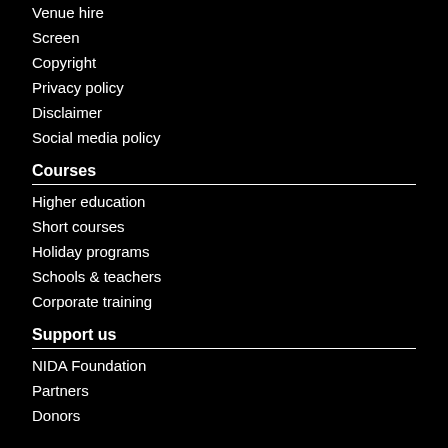Venue hire
Screen
Copyright
Privacy policy
Disclaimer
Social media policy
Courses
Higher education
Short courses
Holiday programs
Schools & teachers
Corporate training
Support us
NIDA Foundation
Partners
Donors